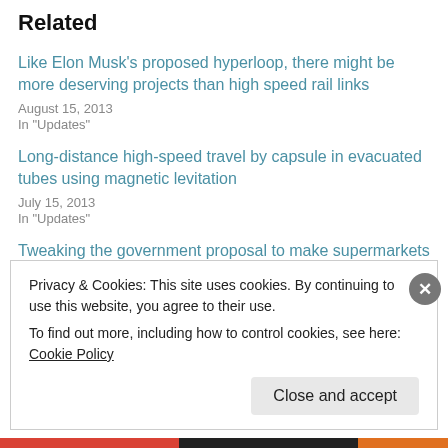Related
Like Elon Musk's proposed hyperloop, there might be more deserving projects than high speed rail links
August 15, 2013
In "Updates"
Long-distance high-speed travel by capsule in evacuated tubes using magnetic levitation
July 15, 2013
In "Updates"
Tweaking the government proposal to make supermarkets charge 5p for each plastic bag
September 15, 2013
Privacy & Cookies: This site uses cookies. By continuing to use this website, you agree to their use.
To find out more, including how to control cookies, see here: Cookie Policy